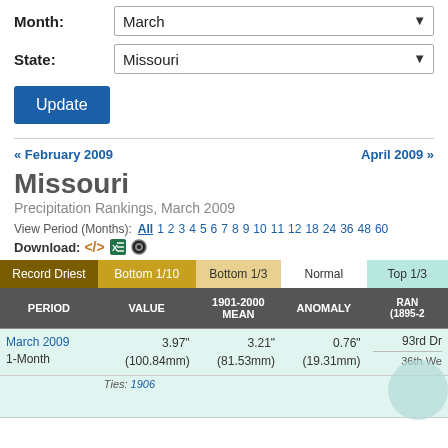Month: March
State: Missouri
Update
« February 2009
April 2009 »
Missouri
Precipitation Rankings, March 2009
View Period (Months): All 1 2 3 4 5 6 7 8 9 10 11 12 18 24 36 48 60
Download:
| PERIOD | VALUE | 1901-2000 MEAN | ANOMALY | RANK (1895-2...) |
| --- | --- | --- | --- | --- |
| March 2009
1-Month | 3.97"
(100.84mm) | 3.21"
(81.53mm) | 0.76"
(19.31mm) | 93rd Dr
36th We |
|  |  |  |  | Ties: 1906 |  |